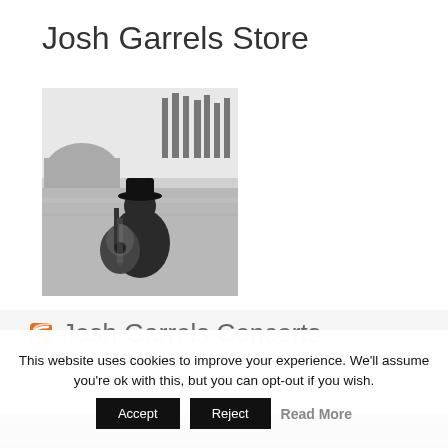Josh Garrels Store
[Figure (photo): Black and white photo of a man with a hat sitting in a field playing an acoustic guitar, with trees visible in the background]
Josh Garrels Concerts
This website uses cookies to improve your experience. We'll assume you're ok with this, but you can opt-out if you wish.
Accept  Reject  Read More